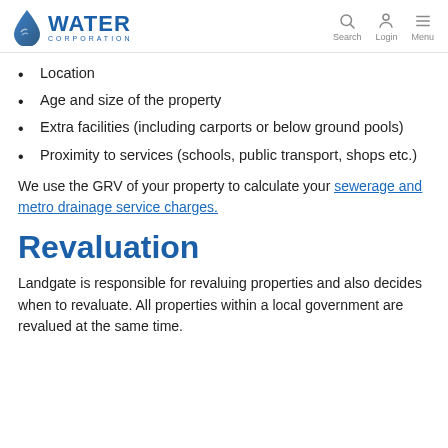Water Corporation | Search | Login | Menu
Location
Age and size of the property
Extra facilities (including carports or below ground pools)
Proximity to services (schools, public transport, shops etc.)
We use the GRV of your property to calculate your sewerage and metro drainage service charges.
Revaluation
Landgate is responsible for revaluing properties and also decides when to revaluate. All properties within a local government are revalued at the same time.